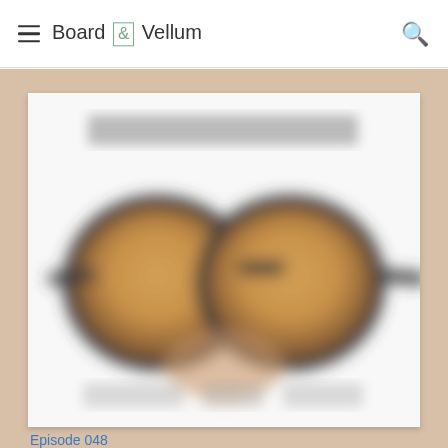Board & Vellum
[Figure (photo): Blurred podcast cover art showing a person wearing round sunglasses with warm brown/gold reflective lenses, with blurred text above and below the glasses]
Episode 048